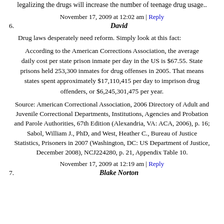legalizing the drugs will increase the number of teenage drug usage..
November 17, 2009 at 12:02 am | Reply
6. David
Drug laws desperately need reform. Simply look at this fact:
According to the American Corrections Association, the average daily cost per state prison inmate per day in the US is $67.55. State prisons held 253,300 inmates for drug offenses in 2005. That means states spent approximately $17,110,415 per day to imprison drug offenders, or $6,245,301,475 per year.
Source: American Correctional Association, 2006 Directory of Adult and Juvenile Correctional Departments, Institutions, Agencies and Probation and Parole Authorities, 67th Edition (Alexandria, VA: ACA, 2006), p. 16; Sabol, William J., PhD, and West, Heather C., Bureau of Justice Statistics, Prisoners in 2007 (Washington, DC: US Department of Justice, December 2008), NCJ224280, p. 21, Appendix Table 10.
November 17, 2009 at 12:19 am | Reply
7. Blake Norton